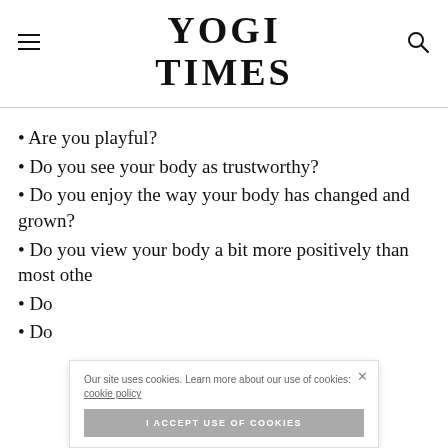YOGI TIMES
• Are you playful?
• Do you see your body as trustworthy?
• Do you enjoy the way your body has changed and grown?
• Do you view your body a bit more positively than most othe...
• Do...
• Do...
Our site uses cookies. Learn more about our use of cookies: cookie policy
I ACCEPT USE OF COOKIES